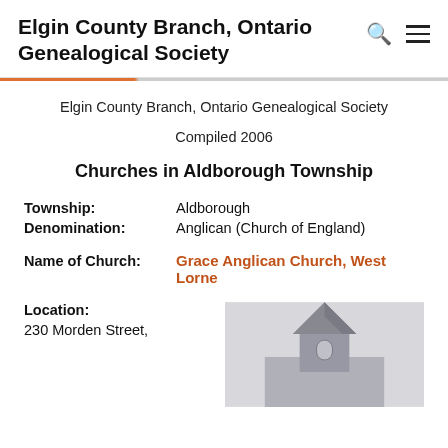Elgin County Branch, Ontario Genealogical Society
Elgin County Branch, Ontario Genealogical Society
Compiled 2006
Churches in Aldborough Township
Township: Aldborough
Denomination: Anglican (Church of England)
Name of Church: Grace Anglican Church, West Lorne
Location:
230 Morden Street,
[Figure (photo): Photo of a church steeple, grey stone, partially visible]